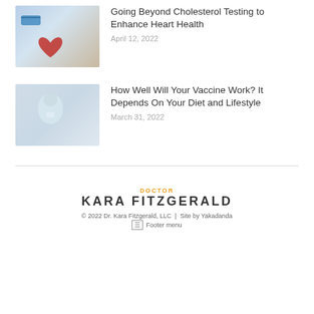[Figure (photo): Photo showing stethoscope with red heart shape, cholesterol testing theme]
Going Beyond Cholesterol Testing to Enhance Heart Health
April 12, 2022
[Figure (photo): Photo of elderly woman receiving a vaccine injection, wearing a mask]
How Well Will Your Vaccine Work? It Depends On Your Diet and Lifestyle
March 31, 2022
DOCTOR KARA FITZGERALD © 2022 Dr. Kara Fitzgerald, LLC | Site by Yakadanda Footer menu